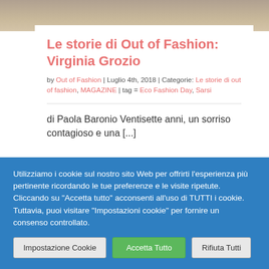[Figure (photo): Top portion of a photo showing a person, cropped at the top of the visible page area]
Le storie di Out of Fashion: Virginia Grozio
by Out of Fashion | Luglio 4th, 2018 | Categorie: Le storie di out of fashion, MAGAZINE | tag = Eco Fashion Day, Sarsi
di Paola Baronio Ventisette anni, un sorriso contagioso e una [...]
Utilizziamo i cookie sul nostro sito Web per offrirti l'esperienza più pertinente ricordando le tue preferenze e le visite ripetute. Cliccando su "Accetta tutto" acconsenti all'uso di TUTTI i cookie. Tuttavia, puoi visitare "Impostazioni cookie" per fornire un consenso controllato.
Impostazione Cookie
Accetta Tutto
Rifiuta Tutti